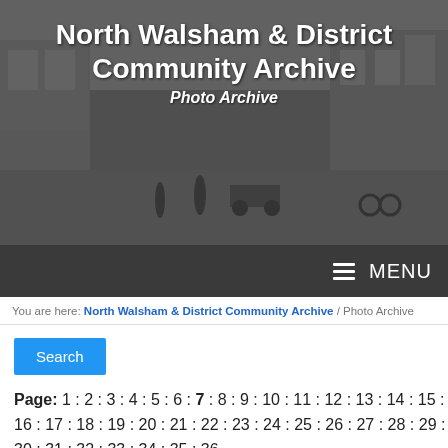[Figure (photo): Black and white historical street scene showing old buildings, horse-drawn vehicles and pedestrians, used as website header banner background]
North Walsham & District Community Archive
Photo Archive
MENU
You are here: North Walsham & District Community Archive / Photo Archive
Search
Page: 1 : 2 : 3 : 4 : 5 : 6 : 7 : 8 : 9 : 10 : 11 : 12 : 13 : 14 : 15 : 16 : 17 : 18 : 19 : 20 : 21 : 22 : 23 : 24 : 25 : 26 : 27 : 28 : 29 : 30 : 31 : 32 : 33 : 34 : 35 : 36